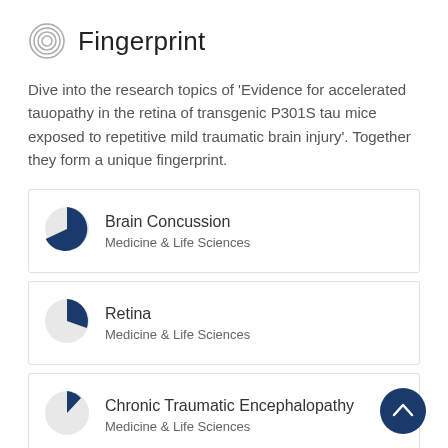Fingerprint
Dive into the research topics of 'Evidence for accelerated tauopathy in the retina of transgenic P301S tau mice exposed to repetitive mild traumatic brain injury'. Together they form a unique fingerprint.
Brain Concussion — Medicine & Life Sciences
Retina — Medicine & Life Sciences
Chronic Traumatic Encephalopathy — Medicine & Life Sciences
Neocortex — Medicine & Life Sciences